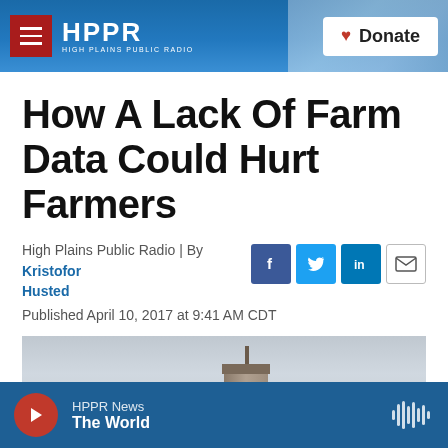HPPR | HIGH PLAINS PUBLIC RADIO | Donate
How A Lack Of Farm Data Could Hurt Farmers
High Plains Public Radio | By Kristofor Husted
Published April 10, 2017 at 9:41 AM CDT
[Figure (photo): Grain elevator or tower against a grey overcast sky]
HPPR News | The World